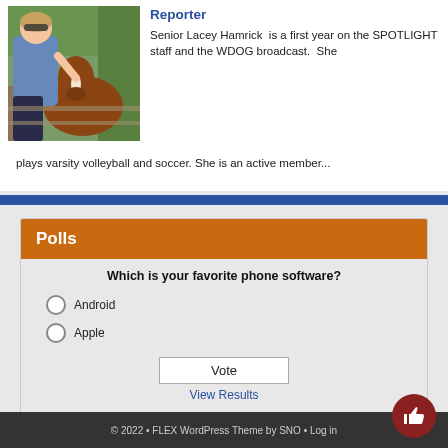[Figure (photo): A young woman in a blue dress leaning on a brown and white horse at a fence, outdoors with green trees in background.]
Reporter
Senior Lacey Hamrick  is a first year on the SPOTLIGHT staff and the WDOG broadcast.  She plays varsity volleyball and soccer. She is an active member...
Polls
Which is your favorite phone software?
Android
Apple
© 2022 • FLEX WordPress Theme by SNO • Log in